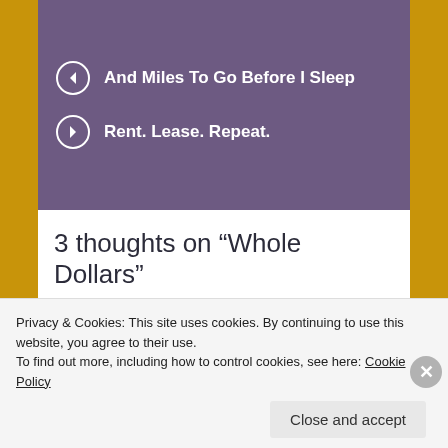And Miles To Go Before I Sleep
Rent. Lease. Repeat.
3 thoughts on “Whole Dollars”
Pingback: Gimme Some Sugar « Taul, a rant
Privacy & Cookies: This site uses cookies. By continuing to use this website, you agree to their use.
To find out more, including how to control cookies, see here: Cookie Policy
Close and accept